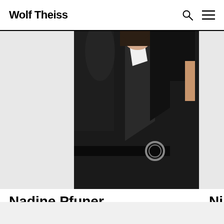Wolf Theiss
[Figure (photo): Professional photo of a person in a black blazer with a belt, photographed against a light background, cropped at torso/chest level]
Nadine Pfuner
Associate
Austria
Nik...
Asso...
Aust...